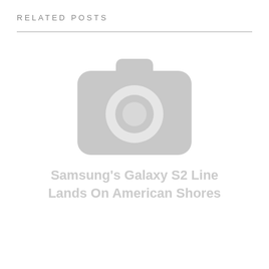RELATED POSTS
[Figure (illustration): Placeholder image showing a grey camera icon with rounded rectangle body, viewfinder bump on top, and circular lens in center. Below the icon, text reads: Samsung's Galaxy S2 Line Lands On American Shores]